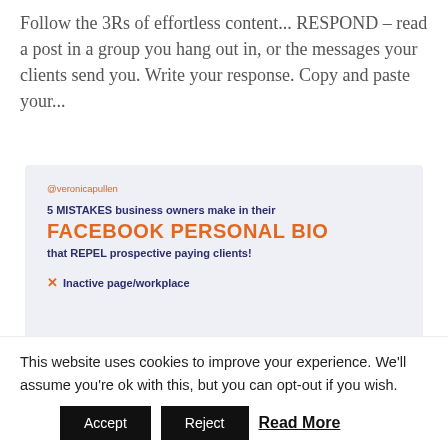Follow the 3Rs of effortless content... RESPOND – read a post in a group you hang out in, or the messages your clients send you. Write your response. Copy and paste your...
[Figure (screenshot): A card/banner image with a light blue-grey background. Shows '@veronicapullen' handle in orange, then bold dark blue text '5 MISTAKES business owners make in their', then large orange bold text 'FACEBOOK PERSONAL BIO', then bold dark blue text 'that REPEL prospective paying clients!', then an orange X with bold dark blue text 'Inactive page/workplace'. An orange semicircle is visible at the bottom right.]
This website uses cookies to improve your experience. We'll assume you're ok with this, but you can opt-out if you wish.